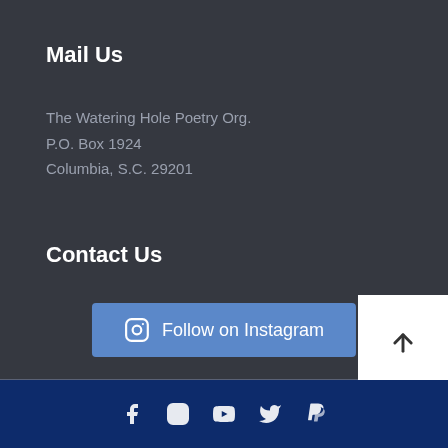Mail Us
The Watering Hole Poetry Org.
P.O. Box 1924
Columbia, S.C. 29201
Contact Us
[Figure (other): Blue button labeled 'Follow on Instagram' with Instagram circle icon]
[Figure (other): White back-to-top button with upward arrow]
Social media icons: Facebook, Instagram, YouTube, Twitter, PayPal